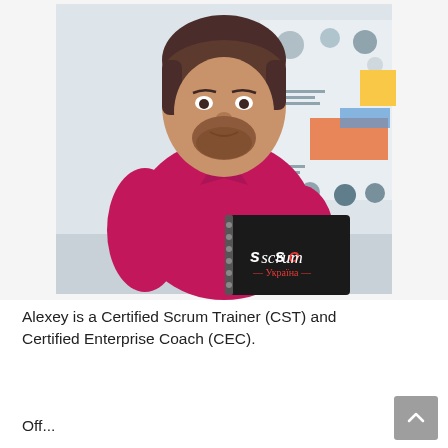[Figure (photo): A man with dark hair and beard wearing a magenta/pink polo shirt, holding a black spiral notebook with 'scrum Україна' branding. Background shows an agile/scrum infographic poster on a white wall.]
Alexey is a Certified Scrum Trainer (CST) and Certified Enterprise Coach (CEC).
Off...